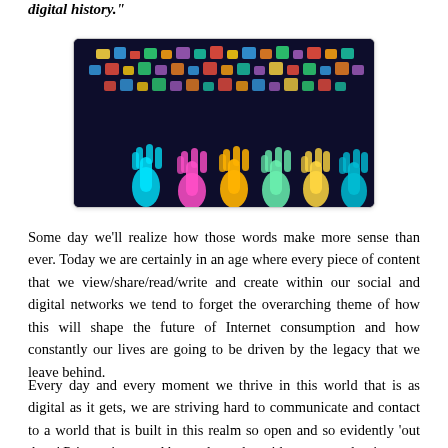digital history."
[Figure (photo): Colorful glowing hands raised upward against a dark background, with digital/social media icons floating above them representing digital connectivity and social networks.]
Some day we'll realize how those words make more sense than ever. Today we are certainly in an age where every piece of content that we view/share/read/write and create within our social and digital networks we tend to forget the overarching theme of how this will shape the future of Internet consumption and how constantly our lives are going to be driven by the legacy that we leave behind.
Every day and every moment we thrive in this world that is as digital as it gets, we are striving hard to communicate and contact to a world that is built in this realm so open and so evidently 'out there' Privacy is a word beyond a realm without any real strings